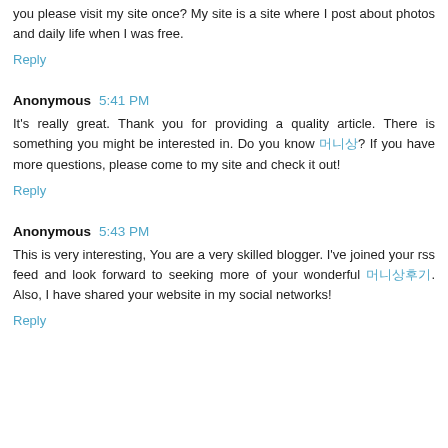you please visit my site once? My site is a site where I post about photos and daily life when I was free.
Reply
Anonymous 5:41 PM
It's really great. Thank you for providing a quality article. There is something you might be interested in. Do you know 머니상? If you have more questions, please come to my site and check it out!
Reply
Anonymous 5:43 PM
This is very interesting, You are a very skilled blogger. I've joined your rss feed and look forward to seeking more of your wonderful 머니상후기. Also, I have shared your website in my social networks!
Reply